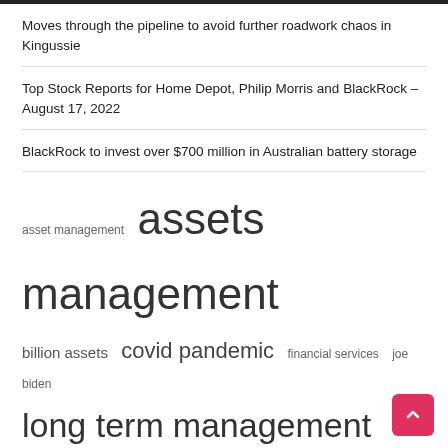Moves through the pipeline to avoid further roadwork chaos in Kingussie
Top Stock Reports for Home Depot, Philip Morris and BlackRock – August 17, 2022
BlackRock to invest over $700 million in Australian battery storage
[Figure (infographic): Tag cloud with finance-related terms in varying sizes: 'assets management' (largest), 'united states' (very large), 'long term', 'management aum' (large), 'covid pandemic', 'real estate', 'short term' (medium-large), 'asset management', 'billion assets', 'financial services', 'joe biden', 'managing director', 'mutual fund', 'vice president', 'working capital' (smaller)]
Archives